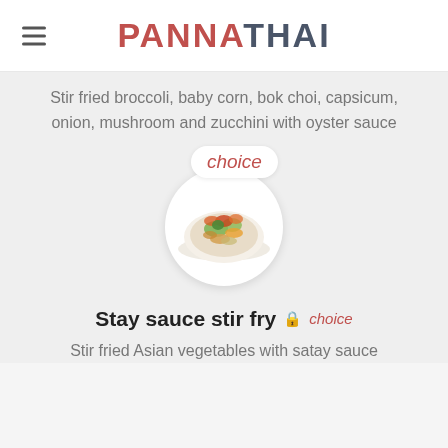PANNATHAI
Stir fried broccoli, baby corn, bok choi, capsicum, onion, mushroom and zucchini with oyster sauce
[Figure (photo): A bowl of stir fried Asian vegetables with a choice label bubble above it]
Stay sauce stir fry choice
Stir fried Asian vegetables with satay sauce